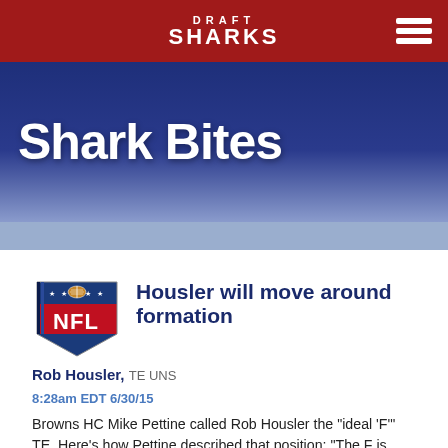DRAFT SHARKS
Shark Bites
Housler will move around formation
Rob Housler, TE UNS
8:28am EDT 6/30/15
Browns HC Mike Pettine called Rob Housler the "ideal 'F'" TE. Here's how Pettine described that position: "The F is more of a move type, off the ball, more of a wing. You can flex him out some." That's the kind of role we want our fantasy TE playing. Housler was signed by the Browns to be a pass-catcher.